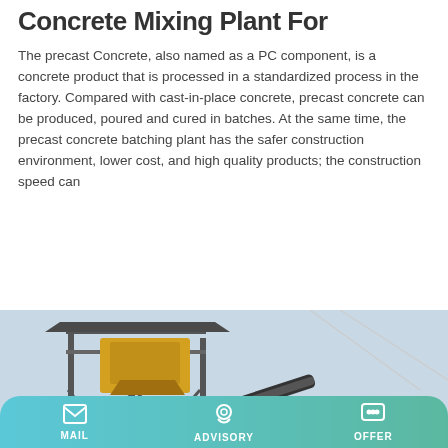Concrete Mixing Plant For
The precast Concrete, also named as a PC component, is a concrete product that is processed in a standardized process in the factory. Compared with cast-in-place concrete, precast concrete can be produced, poured and cured in batches. At the same time, the precast concrete batching plant has the safer construction environment, lower cost, and high quality products; the construction speed can
Learn More
[Figure (photo): Photo of a concrete mixing plant / batching plant with steel framework, yellow mixer unit, conveyor belt, and cylindrical drum on the right side.]
MAIL   ADVISORY   OFFER